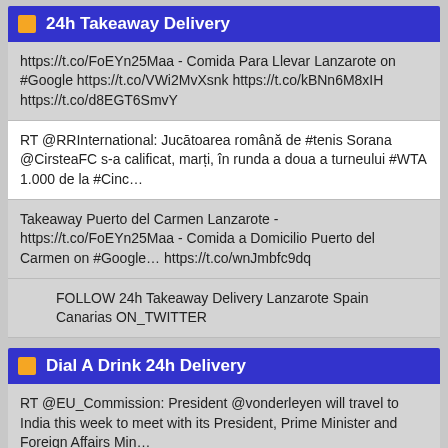24h Takeaway Delivery
https://t.co/FoEYn25Maa - Comida Para Llevar Lanzarote on #Google https://t.co/VWi2MvXsnk https://t.co/kBNn6M8xIH https://t.co/d8EGT6SmvY
RT @RRInternational: Jucātoarea română de #tenis Sorana @CirsteaFC s-a calificat, marți, în runda a doua a turneului #WTA 1.000 de la #Cinc…
Takeaway Puerto del Carmen Lanzarote - https://t.co/FoEYn25Maa - Comida a Domicilio Puerto del Carmen on #Google… https://t.co/wnJmbfc9dq
FOLLOW 24h Takeaway Delivery Lanzarote Spain Canarias ON_TWITTER
Dial A Drink 24h Delivery
RT @EU_Commission: President @vonderleyen will travel to India this week to meet with its President, Prime Minister and Foreign Affairs Min…
RT @Transp0rtTravel: Pratiques Monopolistiques liées à une limitation du nombre de permis et de licences accordés au